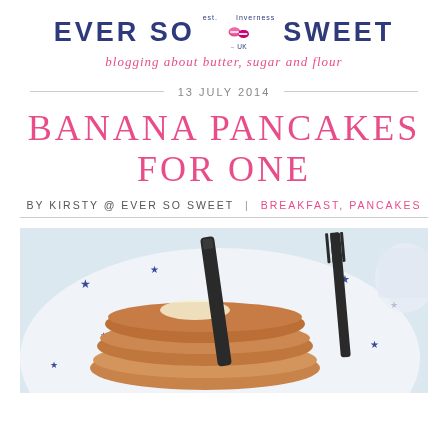[Figure (logo): Ever So Sweet blog logo with dark blue uppercase lettering, two pink/magenta macaron icons in the center, 'est. 2013' and 'Inverness UK' text, and pink italic tagline 'blogging about butter, sugar and flour']
13 JULY 2014
BANANA PANCAKES FOR ONE
BY KIRSTY @ EVER SO SWEET | BREAKFAST, PANCAKES
[Figure (photo): Close-up food photograph of a stack of banana pancakes on a white plate with blue star pattern, with dark cutlery (knife and fork) resting on the plate]